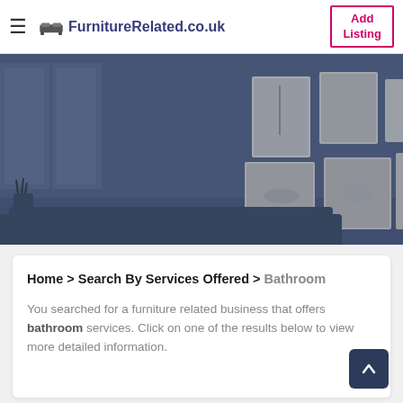FurnitureRelated.co.uk | Add Listing
[Figure (photo): Hero image of a living room interior with artwork on a dark blue-tinted wall, sofa in foreground, large windows on the left.]
Home > Search By Services Offered > Bathroom
You searched for a furniture related business that offers bathroom services. Click on one of the results below to view more detailed information.